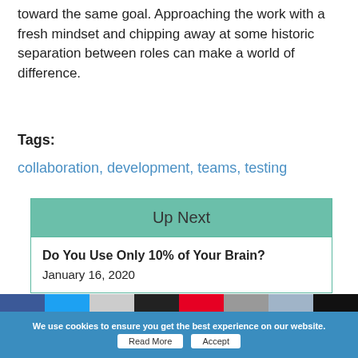toward the same goal. Approaching the work with a fresh mindset and chipping away at some historic separation between roles can make a world of difference.
Tags:
collaboration, development, teams, testing
Up Next
Do You Use Only 10% of Your Brain?
January 16, 2020
GET TECHWELL INSIGHTS DELIVERED WEEKLY
ALL TECHWELL INSIGHTS BY THIS AUTHOR
We use cookies to ensure you get the best experience on our website.
Read More  Accept